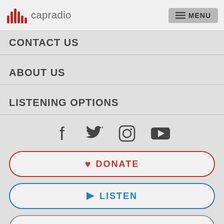[Figure (logo): capradio logo with red bar chart icon and grey text]
MENU
CONTACT US
ABOUT US
LISTENING OPTIONS
[Figure (illustration): Social media icons: Facebook, Twitter, Instagram, YouTube]
♥ DONATE
▶ LISTEN
NEWSLETTERS